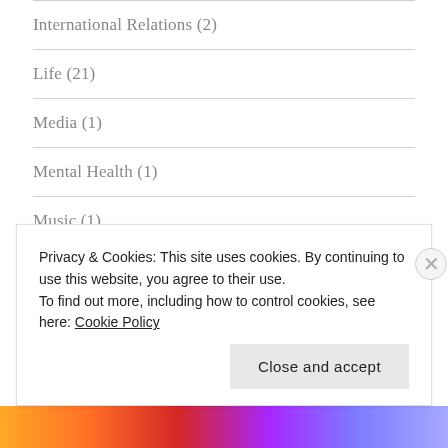International Relations (2)
Life (21)
Media (1)
Mental Health (1)
Music (1)
Nepal (1)
News (1)
Other (17)
Privacy & Cookies: This site uses cookies. By continuing to use this website, you agree to their use.
To find out more, including how to control cookies, see here: Cookie Policy
Close and accept